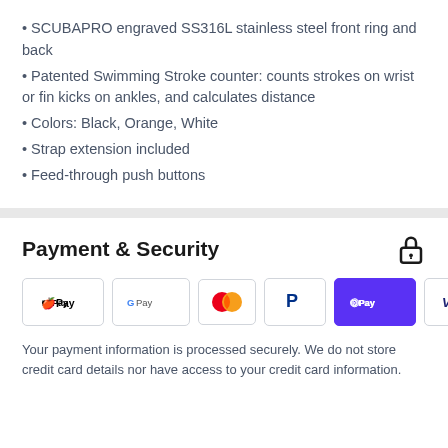• SCUBAPRO engraved SS316L stainless steel front ring and back
• Patented Swimming Stroke counter: counts strokes on wrist or fin kicks on ankles, and calculates distance
• Colors: Black, Orange, White
• Strap extension included
• Feed-through push buttons
Payment & Security
[Figure (infographic): Payment method icons: Apple Pay, Google Pay, Mastercard, PayPal, Shop Pay, Visa]
Your payment information is processed securely. We do not store credit card details nor have access to your credit card information.